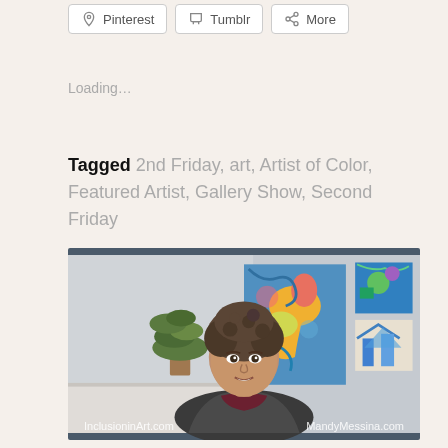[Figure (other): Social share buttons: Pinterest, Tumblr, More]
Loading…
Tagged 2nd Friday, art, Artist of Color, Featured Artist, Gallery Show, Second Friday
[Figure (photo): Photo of a young woman with short curly hair smiling, seated in front of colorful artwork paintings on a wall with a potted plant visible. Watermarks: InclusioninArt.com and MandyMessina.com]